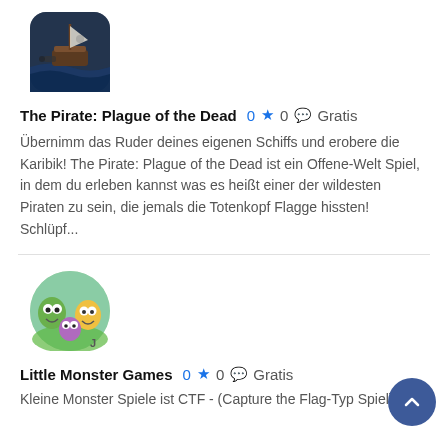[Figure (illustration): App icon for The Pirate: Plague of the Dead — dark blue/grey rounded square with a ship scene]
The Pirate: Plague of the Dead  0 ★  0 💬  Gratis
Übernimm das Ruder deines eigenen Schiffs und erobere die Karibik! The Pirate: Plague of the Dead ist ein Offene-Welt Spiel, in dem du erleben kannst was es heißt einer der wildesten Piraten zu sein, die jemals die Totenkopf Flagge hissten! Schlüpf...
[Figure (illustration): App icon for Little Monster Games — circular icon with cartoon monster characters]
Little Monster Games  0 ★  0 💬  Gratis
Kleine Monster Spiele ist CTF - (Capture the Flag-Typ Spiel)